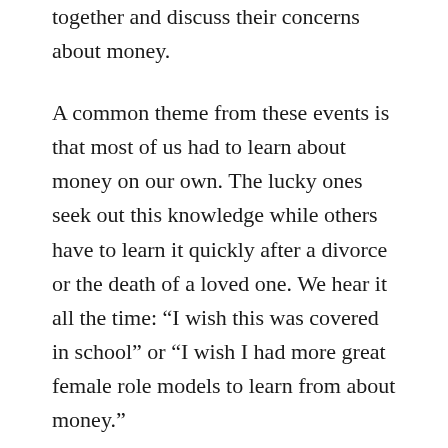together and discuss their concerns about money.
A common theme from these events is that most of us had to learn about money on our own. The lucky ones seek out this knowledge while others have to learn it quickly after a divorce or the death of a loved one. We hear it all the time: “I wish this was covered in school” or “I wish I had more great female role models to learn from about money.”
Then, as we send our children off to college, are they really ready to handle their finances? If we pay for everything they need and want